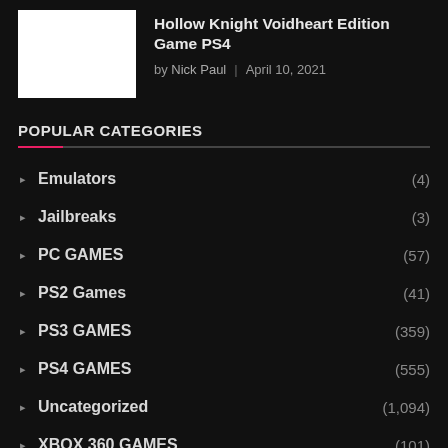[Figure (photo): White thumbnail image placeholder for article]
Hollow Knight Voidheart Edition Game PS4
by Nick Paul | April 10, 2021
POPULAR CATEGORIES
Emulators (4)
Jailbreaks (3)
PC GAMES (57)
PS2 Games (41)
PS3 GAMES (359)
PS4 GAMES (555)
Uncategorized (1,094)
XBOX 360 GAMES (101)